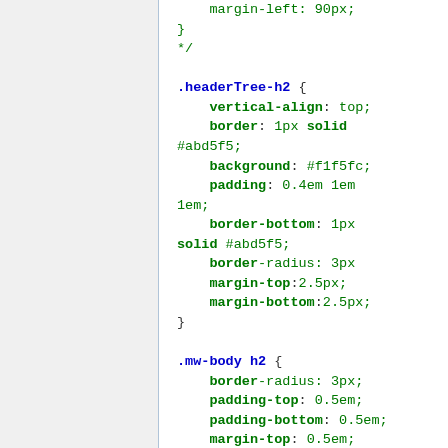[Figure (screenshot): A code editor screenshot showing CSS code. Left panel is gray with a vertical blue border. Right panel shows CSS rules for .headerTree-h2 and .mw-body h2, with property names in bold green and values in green, and selector/bracket text in blue/dark.]